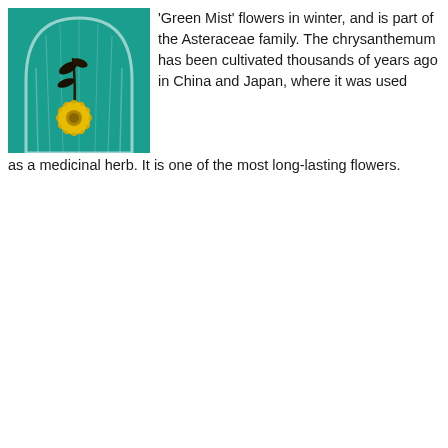[Figure (photo): A yellow chrysanthemum flower placed upside down under a glass dome/cloche on a teal/green background.]
'Green Mist' flowers in winter, and is part of the Asteraceae family. The chrysanthemum has been cultivated thousands of years ago in China and Japan, where it was used as a medicinal herb. It is one of the most long-lasting flowers.